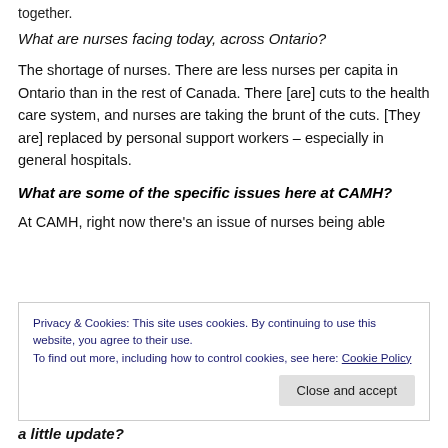together.
What are nurses facing today, across Ontario?
The shortage of nurses. There are less nurses per capita in Ontario than in the rest of Canada. There [are] cuts to the health care system, and nurses are taking the brunt of the cuts. [They are] replaced by personal support workers – especially in general hospitals.
What are some of the specific issues here at CAMH?
At CAMH, right now there's an issue of nurses being able
Privacy & Cookies: This site uses cookies. By continuing to use this website, you agree to their use.
To find out more, including how to control cookies, see here: Cookie Policy
a little update?